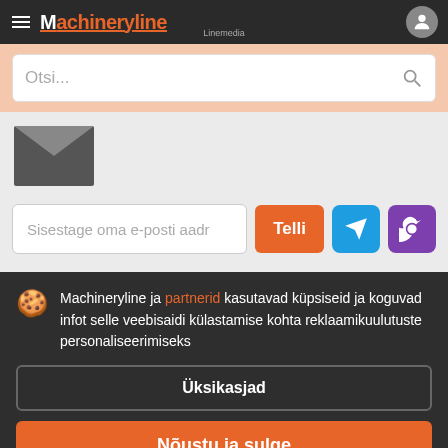Machineryline Linemedia
Otsi...
[Figure (illustration): Email envelope icon, dark grey, partially visible]
Sisestage oma e-posti aadr
Telli
Machineryline ja partnerid kasutavad küpsiseid ja koguvad infot selle veebisaidi külastamise kohta reklaamikuulutuste personaliseerimiseks
Üksikasjad
Nõustu ja sulge